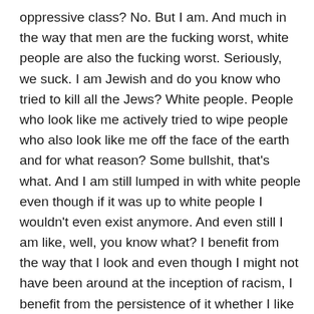oppressive class? No. But I am. And much in the way that men are the fucking worst, white people are also the fucking worst. Seriously, we suck. I am Jewish and do you know who tried to kill all the Jews? White people. People who look like me actively tried to wipe people who also look like me off the face of the earth and for what reason? Some bullshit, that's what. And I am still lumped in with white people even though if it was up to white people I wouldn't even exist anymore. And even still I am like, well, you know what? I benefit from the way that I look and even though I might not have been around at the inception of racism, I benefit from the persistence of it whether I like it or not and whether I want to admit it or not. But what does not admitting it get me? Nothing except that it makes me even more of the fucking worst. It is my job to be better.